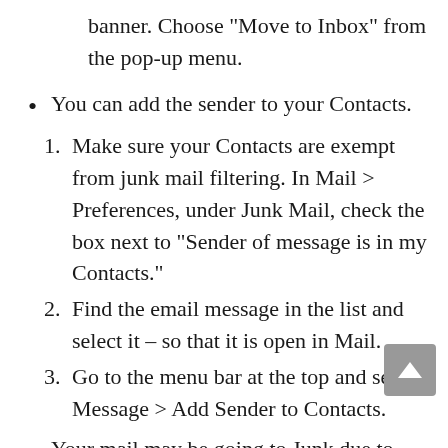banner. Choose “Move to Inbox” from the pop-up menu.
You can add the sender to your Contacts.
1. Make sure your Contacts are exempt from junk mail filtering. In Mail › Preferences, under Junk Mail, check the box next to “Sender of message is in my Contacts.”
2. Find the email message in the list and select it – so that it is open in Mail.
3. Go to the menu bar at the top and select Message › Add Sender to Contacts.
Your mail may be going to Junk due to